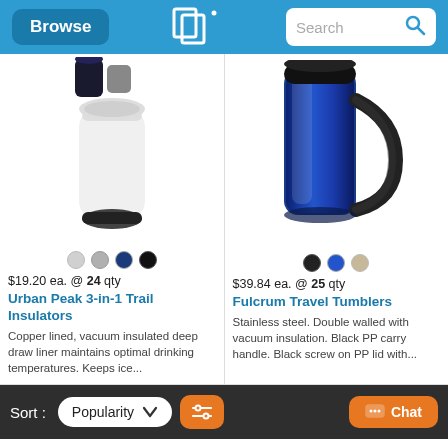Browse | Search
[Figure (photo): Urban Peak 3-in-1 Trail Insulators product photo showing white tumbler and black/navy tops]
$19.20 ea. @ 24 qty
Urban Peak 3-in-1 Trail Insulators
Copper lined, vacuum insulated deep draw liner maintains optimal drinking temperatures. Keeps ice...
[Figure (photo): Fulcrum Travel Tumblers product photo showing blue stainless steel mug with black handle]
$39.84 ea. @ 25 qty
Fulcrum Travel Tumblers
Stainless steel. Double walled with vacuum insulation. Black PP carry handle. Black screw on PP lid with...
Sort: Popularity | Filter | Chat